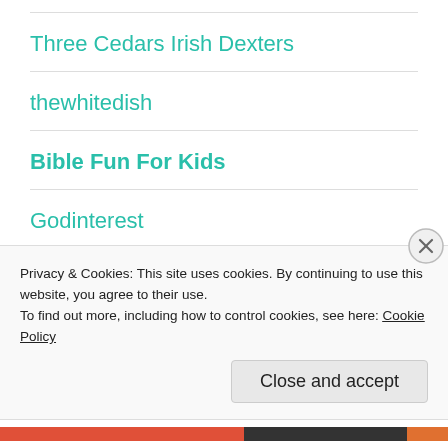Three Cedars Irish Dexters
thewhitedish
Bible Fun For Kids
Godinterest
levithetford.wordpress.com/
THE RIVER WALK
Privacy & Cookies: This site uses cookies. By continuing to use this website, you agree to their use.
To find out more, including how to control cookies, see here: Cookie Policy
Close and accept